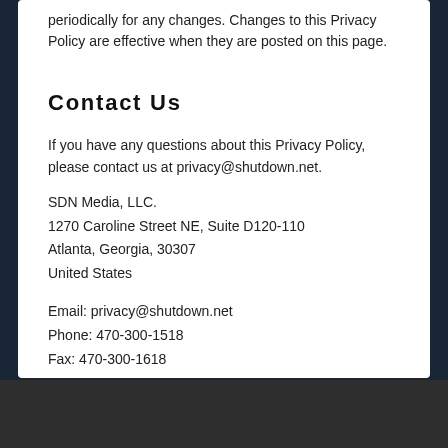periodically for any changes. Changes to this Privacy Policy are effective when they are posted on this page.
Contact Us
If you have any questions about this Privacy Policy, please contact us at privacy@shutdown.net.
SDN Media, LLC.
1270 Caroline Street NE, Suite D120-110
Atlanta, Georgia, 30307
United States
Email: privacy@shutdown.net
Phone: 470-300-1518
Fax: 470-300-1618